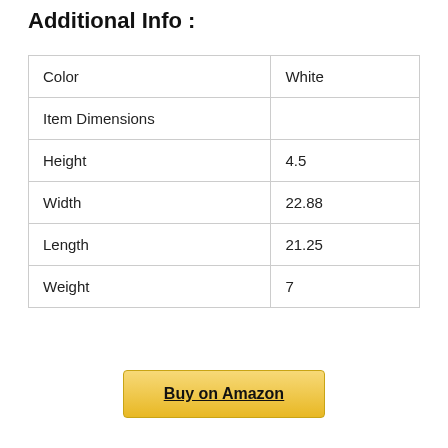Additional Info :
| Color | White |
| Item Dimensions |  |
| Height | 4.5 |
| Width | 22.88 |
| Length | 21.25 |
| Weight | 7 |
Buy on Amazon